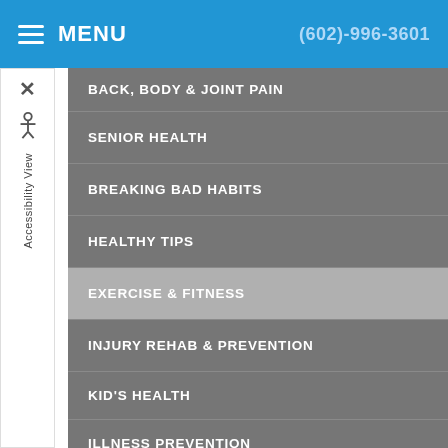MENU  (602)-996-3601
BACK, BODY & JOINT PAIN
SENIOR HEALTH
BREAKING BAD HABITS
HEALTHY TIPS
EXERCISE & FITNESS
INJURY REHAB & PREVENTION
KID'S HEALTH
ILLNESS PREVENTION
CHRONIC CONDITIONS